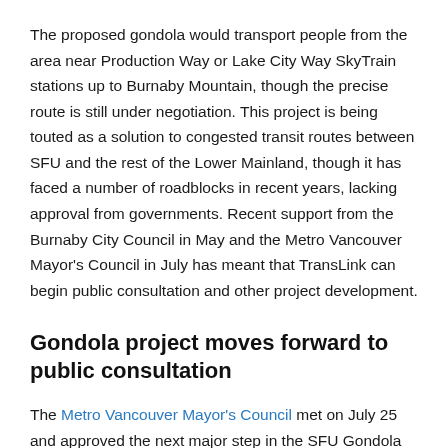The proposed gondola would transport people from the area near Production Way or Lake City Way SkyTrain stations up to Burnaby Mountain, though the precise route is still under negotiation. This project is being touted as a solution to congested transit routes between SFU and the rest of the Lower Mainland, though it has faced a number of roadblocks in recent years, lacking approval from governments. Recent support from the Burnaby City Council in May and the Metro Vancouver Mayor's Council in July has meant that TransLink can begin public consultation and other project development.
Gondola project moves forward to public consultation
The Metro Vancouver Mayor's Council met on July 25 and approved the next major step in the SFU Gondola project.